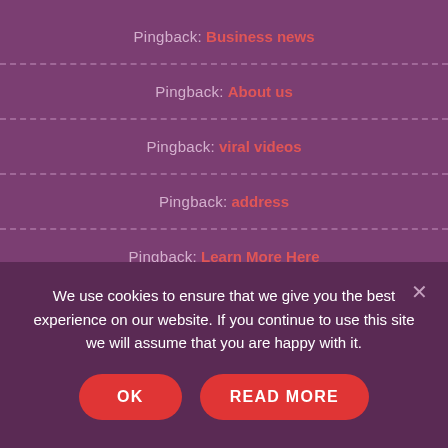Pingback: Business news
Pingback: About us
Pingback: viral videos
Pingback: address
Pingback: Learn More Here
We use cookies to ensure that we give you the best experience on our website. If you continue to use this site we will assume that you are happy with it.